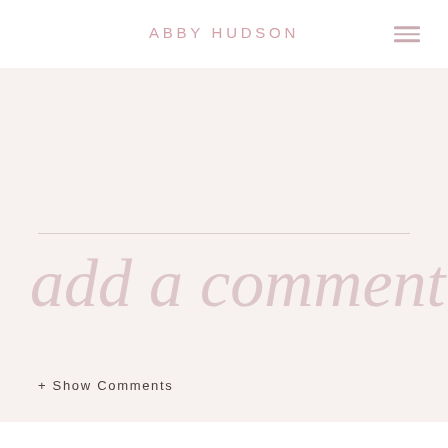ABBY HUDSON
add a comment
+ Show Comments